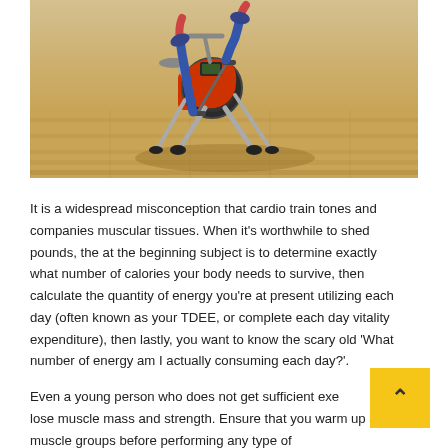[Figure (illustration): An illustration of a red and silver stationary exercise bike on a wooden floor background. A person's legs are visible pedaling the bike.]
It is a widespread misconception that cardio train tones and companies muscular tissues. When it's worthwhile to shed pounds, the at the beginning subject is to determine exactly what number of calories your body needs to survive, then calculate the quantity of energy you're at present utilizing each day (often known as your TDEE, or complete each day vitality expenditure), then lastly, you want to know the scary old 'What number of energy am I actually consuming each day?'.
Even a young person who does not get sufficient exercise can lose muscle mass and strength. Ensure that you warm up all muscle groups before performing any type of